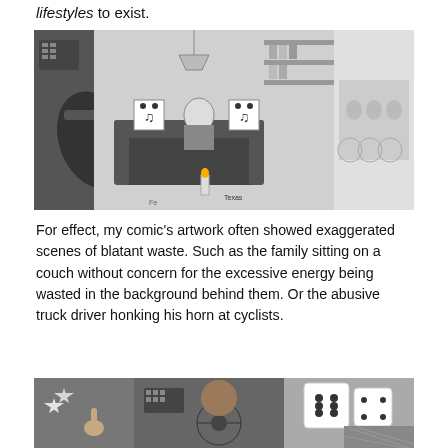lifestyles to exist.
[Figure (illustration): Comic illustration showing a family sitting on a couch with cartoon character faces, surrounded by various energy-wasting appliances and items in the background, and cyclists visible on the right side.]
For effect, my comic’s artwork often showed exaggerated scenes of blatant waste. Such as the family sitting on a couch without concern for the excessive energy being wasted in the background behind them. Or the abusive truck driver honking his horn at cyclists.
[Figure (illustration): Comic illustration showing a truck driver from behind, with a hand making a rude gesture, a large steering wheel, dice hanging, and a person on a bicycle visible outside.]